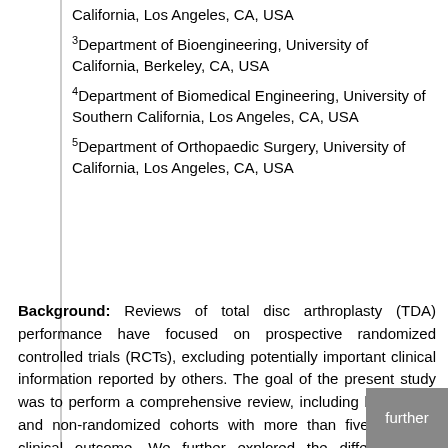California, Los Angeles, CA, USA
3Department of Bioengineering, University of California, Berkeley, CA, USA
4Department of Biomedical Engineering, University of Southern California, Los Angeles, CA, USA
5Department of Orthopaedic Surgery, University of California, Los Angeles, CA, USA
Background: Reviews of total disc arthroplasty (TDA) performance have focused on prospective randomized controlled trials (RCTs), excluding potentially important clinical information reported by others. The goal of the present study was to perform a comprehensive review, including both RCTs and non-randomized cohorts with more than five years of clinical outcome. We further explored the differences in outcome between prospective RCT and non-randomized, including retrospective studies